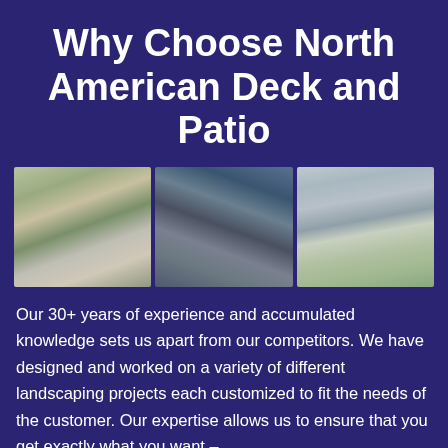Why Choose North American Deck and Patio
[Figure (photo): Three side-by-side photos showing deck and patio projects: a white pergola over a patio area with landscaping, an interior view of a covered patio ceiling with skylights, and a white deck attached to a large house with landscaping.]
Our 30+ years of experience and accumulated knowledge sets us apart from our competitors. We have designed and worked on a variety of different landscaping projects each customized to fit the needs of the customer. Our expertise allows us to ensure that you get exactly what you want –